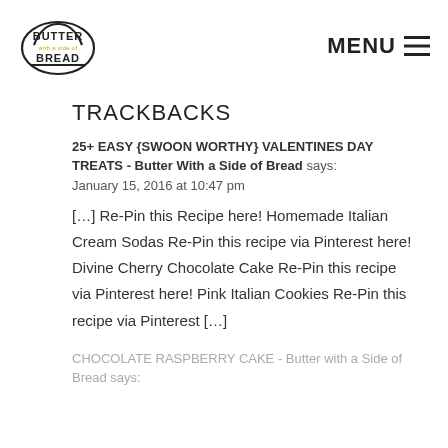Butter With a Side of Bread | MENU
TRACKBACKS
25+ EASY {SWOON WORTHY} VALENTINES DAY TREATS - Butter With a Side of Bread says:
January 15, 2016 at 10:47 pm
[…] Re-Pin this Recipe here! Homemade Italian Cream Sodas Re-Pin this recipe via Pinterest here! Divine Cherry Chocolate Cake Re-Pin this recipe via Pinterest here! Pink Italian Cookies Re-Pin this recipe via Pinterest […]
CHOCOLATE RASPBERRY CAKE - Butter with a Side of Bread says: